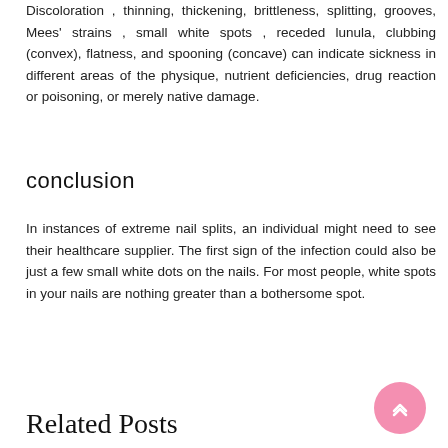Discoloration , thinning, thickening, brittleness, splitting, grooves, Mees' strains , small white spots , receded lunula, clubbing (convex), flatness, and spooning (concave) can indicate sickness in different areas of the physique, nutrient deficiencies, drug reaction or poisoning, or merely native damage.
conclusion
In instances of extreme nail splits, an individual might need to see their healthcare supplier. The first sign of the infection could also be just a few small white dots on the nails. For most people, white spots in your nails are nothing greater than a bothersome spot.
Related Posts